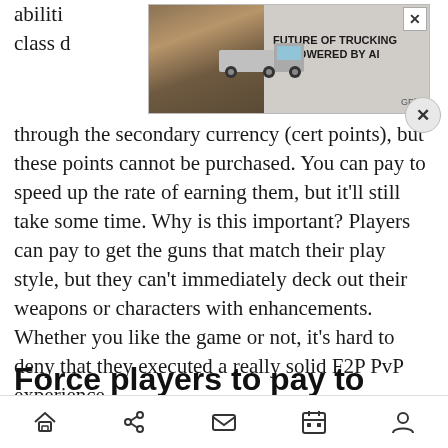abilities ... class d...
[Figure (screenshot): Advertisement banner: 'FUTURE OF TRUCKING POWERED BY AI' with a truck and landscape background, GPlusD branding, with close (X) button]
through the secondary currency (cert points), but these points cannot be purchased. You can pay to speed up the rate of earning them, but it’ll still take some time. Why is this important? Players can pay to get the guns that match their play style, but they can’t immediately deck out their weapons or characters with enhancements. Whether you like the game or not, it’s hard to deny that they executed a really solid F2P PvP experience.
Force players to pay to
Navigation bar with home, share, mail, calendar, and profile icons